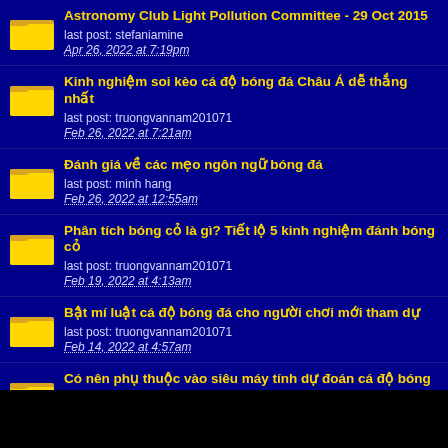Astronomy Club Light Pollution Committee - 29 Oct 2015
last post: stefaniamine
Apr 26, 2022 at 7:19pm
Kinh nghiệm soi kèo cá độ bóng đá Châu Á dễ thắng nhất
last post: truongvannam201071
Feb 26, 2022 at 7:21am
Đánh giá về các mẹo ngôn ngữ bóng đá
last post: minh hang
Feb 26, 2022 at 12:55am
Phân tích bóng cỏ là gì? Tiết lộ 5 kinh nghiệm đánh bóng cỏ
last post: truongvannam201071
Feb 19, 2022 at 4:13am
Bật mí luật cá độ bóng đá cho người chơi mới tham dự
last post: truongvannam201071
Feb 14, 2022 at 4:57am
Có nên phụ thuộc vào siêu máy tính dự đoán cá độ bóng đá?